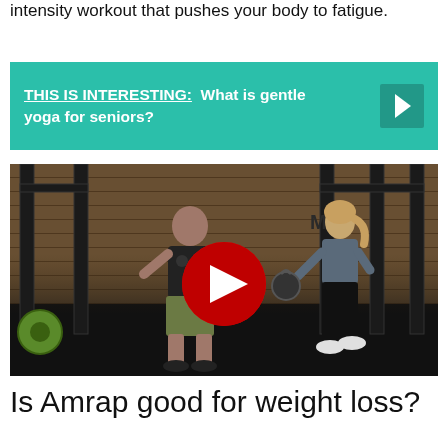intensity workout that pushes your body to fatigue.
THIS IS INTERESTING:  What is gentle yoga for seniors?
[Figure (screenshot): YouTube video thumbnail showing two people exercising in a gym with pull-up racks and wooden wall background. A red YouTube play button is centered on the image.]
Is Amrap good for weight loss?